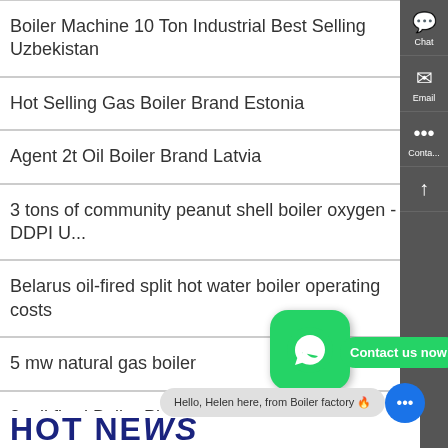Boiler Machine 10 Ton Industrial Best Selling Uzbekistan
Hot Selling Gas Boiler Brand Estonia
Agent 2t Oil Boiler Brand Latvia
3 tons of community peanut shell boiler oxygen - DDPI U...
Belarus oil-fired split hot water boiler operating costs
5 mw natural gas boiler
8t oil fired Boiler Plant Agent P...
Seller 10 Ton Oil Steam Boiler Moldavia
Eritrea h6 gas-fired h... boiler ...
HOT NEWS